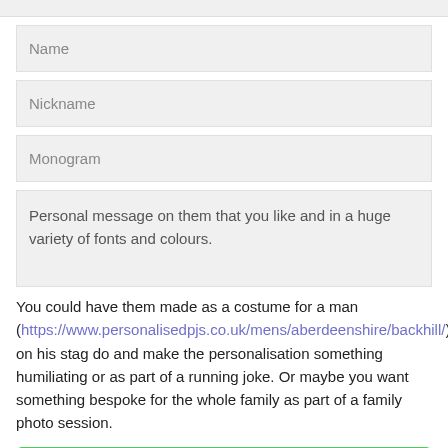Name
Nickname
Monogram
Personal message on them that you like and in a huge variety of fonts and colours.
You could have them made as a costume for a man (https://www.personalisedpjs.co.uk/mens/aberdeenshire/backhill/) on his stag do and make the personalisation something humiliating or as part of a running joke. Or maybe you want something bespoke for the whole family as part of a family photo session.
ENQUIRE TODAY FOR BEST RATES